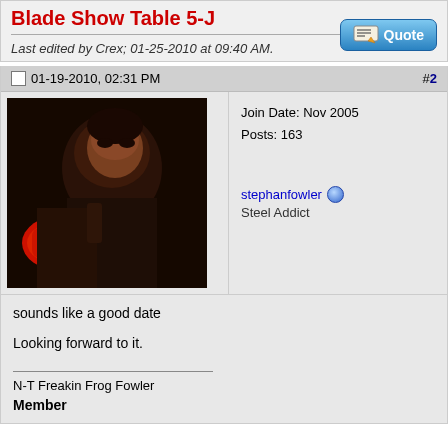Blade Show Table 5-J
Last edited by Crex; 01-25-2010 at 09:40 AM.
01-19-2010, 02:31 PM  #2
Join Date: Nov 2005
Posts: 163
stephanfowler
Steel Addict
[Figure (photo): Dark photo of a person holding a red object, appears to be a knife-related scene]
sounds like a good date

Looking forward to it.
N-T Freakin Frog Fowler
Member